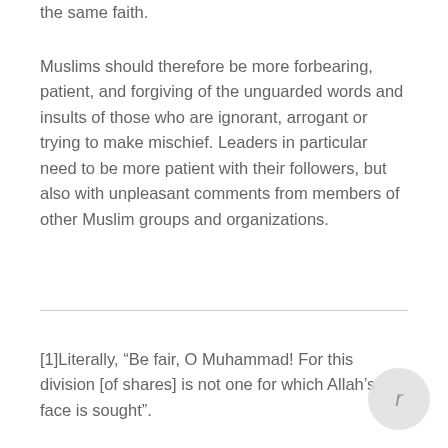the same faith.
Muslims should therefore be more forbearing, patient, and forgiving of the unguarded words and insults of those who are ignorant, arrogant or trying to make mischief. Leaders in particular need to be more patient with their followers, but also with unpleasant comments from members of other Muslim groups and organizations.
[1]Literally, “Be fair, O Muhammad! For this division [of shares] is not one for which Allah’s face is sought”.